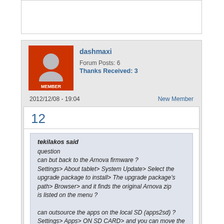dashmaxi
Forum Posts: 6
Thanks Received: 3
2012/12/08 - 19:04
New Member
12
tekilakos said
question
can but back to the Arnova firmware ?
Settings> About tablet> System Update> Select the upgrade package to install> The upgrade package's path> Browser> and it finds the original Arnova zip
is listed on the menu ?

can outsource the apps on the local SD (apps2sd) ?
Settings> Apps> ON SD CARD> and you can move the dan then ?